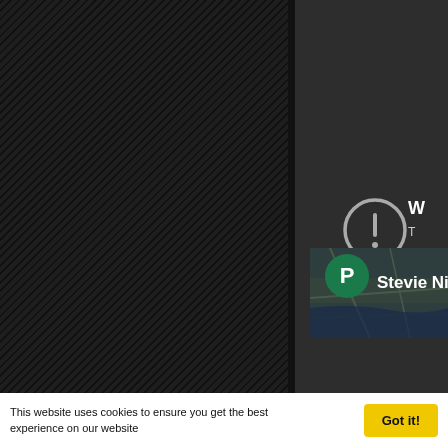[Figure (screenshot): Dark web page screenshot showing a hatched black left panel, a dark gray right panel with a warning icon (circle with exclamation mark) and partial text 'W', 'T', 'a', a map thumbnail in the bottom-right showing a green 'P' circle and 'Stevie Ni' text, and a cookie consent bar at the bottom with text and a 'Got it!' button.]
This website uses cookies to ensure you get the best experience on our website
Got it!